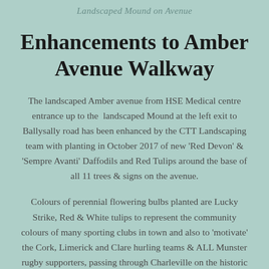Landscaped Mound on Avenue
Enhancements to Amber Avenue Walkway
The landscaped Amber avenue from HSE Medical centre entrance up to the  landscaped Mound at the left exit to Ballysally road has been enhanced by the CTT Landscaping team with planting in October 2017 of new 'Red Devon' & 'Sempre Avanti' Daffodils and Red Tulips around the base of all 11 trees & signs on the avenue.
Colours of perennial flowering bulbs planted are Lucky Strike, Red & White tulips to represent the community colours of many sporting clubs in town and also to 'motivate' the Cork, Limerick and Clare hurling teams & ALL Munster rugby supporters, passing through Charleville on the historic highway of Munster...